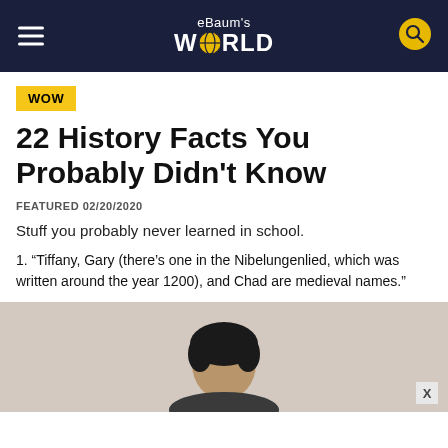eBaum's WORLD
WOW
22 History Facts You Probably Didn't Know
FEATURED 02/20/2020
Stuff you probably never learned in school.
1. "Tiffany, Gary (there's one in the Nibelungenlied, which was written around the year 1200), and Chad are medieval names."
[Figure (photo): A young man photographed from the chest up against a light beige/grey background, dark curly hair, looking toward the camera.]